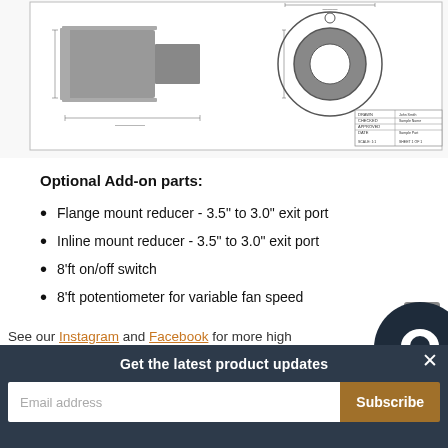[Figure (engineering-diagram): Technical engineering drawing showing two views of a pipe reducer/flange component: left view shows a side profile of a reducer fitting, right view shows a circular flange/ring from the front. Dimension lines and a title block are visible.]
Optional Add-on parts:
Flange mount reducer - 3.5" to 3.0" exit port
Inline mount reducer - 3.5" to 3.0" exit port
8'ft on/off switch
8'ft potentiometer for variable fan speed
See our Instagram and Facebook for more high
Get the latest product updates
Email address  Subscribe